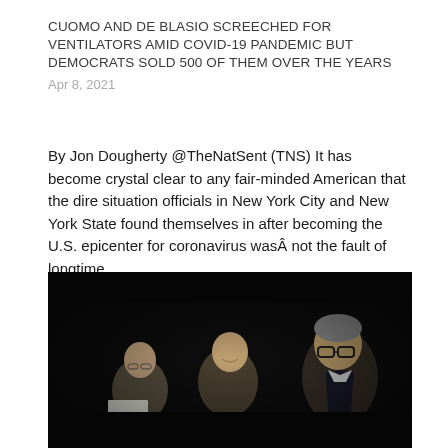CUOMO AND DE BLASIO SCREECHED FOR VENTILATORS AMID COVID-19 PANDEMIC BUT DEMOCRATS SOLD 500 OF THEM OVER THE YEARS
Apr 8, 2021
By Jon Dougherty @TheNatSent (TNS) It has become crystal clear to any fair-minded American that the dire situation officials in New York City and New York State found themselves in after becoming the U.S. epicenter for coronavirus wasÂ not the fault of longtime...
[Figure (photo): Dark photograph showing three men in suits in profile/three-quarter view, the rightmost man wearing glasses, against a very dark background]